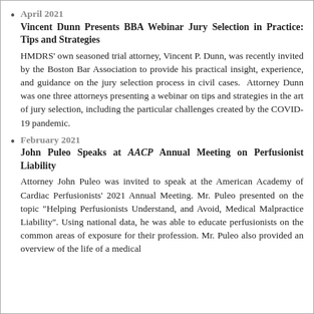April 2021 — Vincent Dunn Presents BBA Webinar Jury Selection in Practice: Tips and Strategies. HMDRS' own seasoned trial attorney, Vincent P. Dunn, was recently invited by the Boston Bar Association to provide his practical insight, experience, and guidance on the jury selection process in civil cases. Attorney Dunn was one three attorneys presenting a webinar on tips and strategies in the art of jury selection, including the particular challenges created by the COVID-19 pandemic.
February 2021 — John Puleo Speaks at AACP Annual Meeting on Perfusionist Liability. Attorney John Puleo was invited to speak at the American Academy of Cardiac Perfusionists' 2021 Annual Meeting. Mr. Puleo presented on the topic "Helping Perfusionists Understand, and Avoid, Medical Malpractice Liability". Using national data, he was able to educate perfusionists on the common areas of exposure for their profession. Mr. Puleo also provided an overview of the life of a medical...